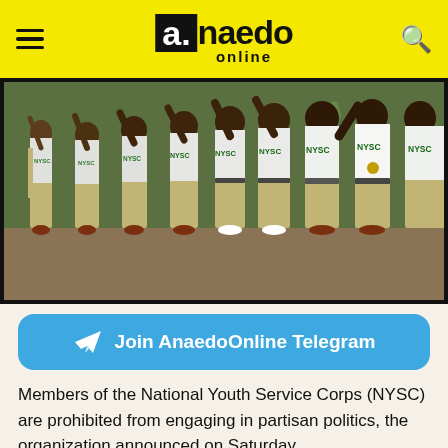a.naedo online
[Figure (photo): NYSC members in white NYSC t-shirts and khaki trousers standing in formation with arms raised saluting]
Join AnaedoOnline Telegram
Members of the National Youth Service Corps (NYSC) are prohibited from engaging in partisan politics, the organization announced on Saturday.
In response to a political campaign poster posted on social media that featured some women dressed in